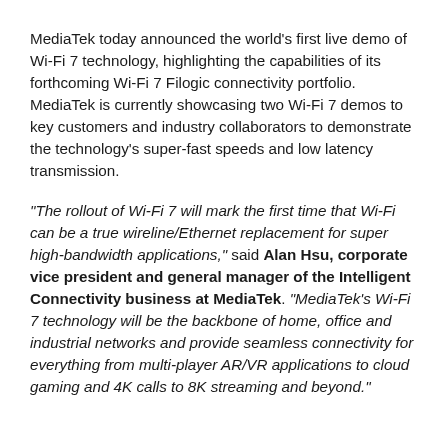MediaTek today announced the world's first live demo of Wi-Fi 7 technology, highlighting the capabilities of its forthcoming Wi-Fi 7 Filogic connectivity portfolio. MediaTek is currently showcasing two Wi-Fi 7 demos to key customers and industry collaborators to demonstrate the technology's super-fast speeds and low latency transmission.
“The rollout of Wi-Fi 7 will mark the first time that Wi-Fi can be a true wireline/Ethernet replacement for super high-bandwidth applications,” said Alan Hsu, corporate vice president and general manager of the Intelligent Connectivity business at MediaTek. “MediaTek’s Wi-Fi 7 technology will be the backbone of home, office and industrial networks and provide seamless connectivity for everything from multi-player AR/VR applications to cloud gaming and 4K calls to 8K streaming and beyond.”